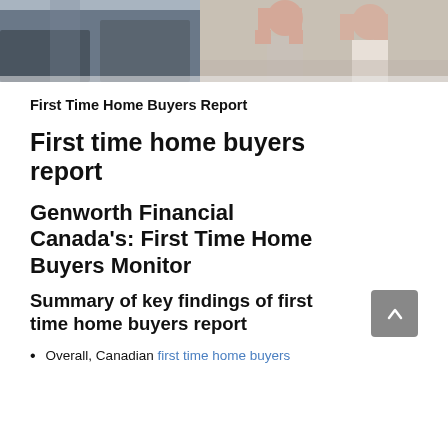[Figure (photo): Photo of people in a home or office setting, with chairs visible on the left and two people on the right appearing stressed with hands raised to their heads]
First Time Home Buyers Report
First time home buyers report
Genworth Financial Canada's: First Time Home Buyers Monitor
Summary of key findings of first time home buyers report
Overall, Canadian first time home buyers